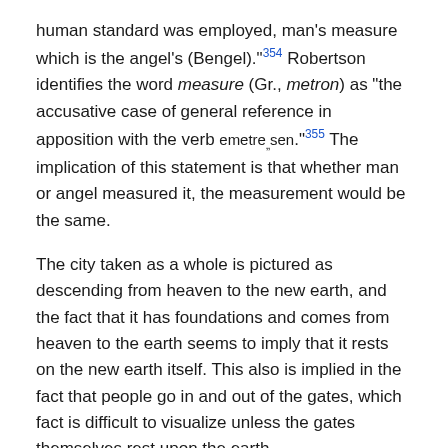human standard was employed, man's measure which is the angel's (Bengel).”354 Robertson identifies the word measure (Gr., metron) as “the accusative case of general reference in apposition with the verb emetre”sen.”355 The implication of this statement is that whether man or angel measured it, the measurement would be the same.
The city taken as a whole is pictured as descending from heaven to the new earth, and the fact that it has foundations and comes from heaven to the earth seems to imply that it rests on the new earth itself. This also is implied in the fact that people go in and out of the gates, which fact is difficult to visualize unless the gates themselves rest upon the earth.
The Beauty of the City (21:18-21)
21:18-21 And the building of the wall of it was